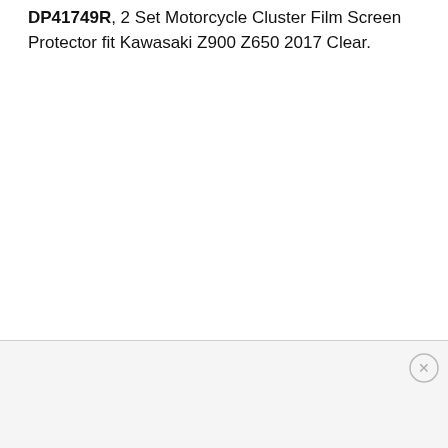DP41749R, 2 Set Motorcycle Cluster Film Screen Protector fit Kawasaki Z900 Z650 2017 Clear.
[Figure (other): Close/dismiss button (X in a circle) in the bottom-right area of a gray banner section]